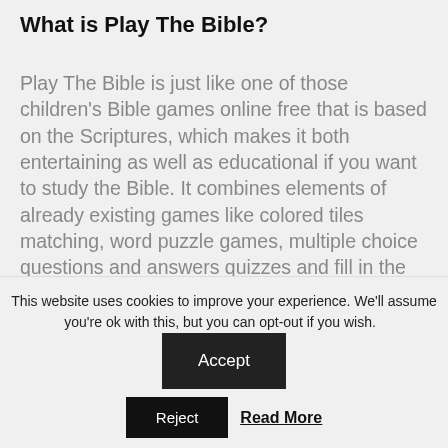What is Play The Bible?
Play The Bible is just like one of those children's Bible games online free that is based on the Scriptures, which makes it both entertaining as well as educational if you want to study the Bible. It combines elements of already existing games like colored tiles matching, word puzzle games, multiple choice questions and answers quizzes and fill in the blanks tests. The core purpose of the game is evangelism and we here at RD Games takes this very seriously, in fact, the whole idea came about because we wanted
This website uses cookies to improve your experience. We'll assume you're ok with this, but you can opt-out if you wish.
Accept
Reject
Read More